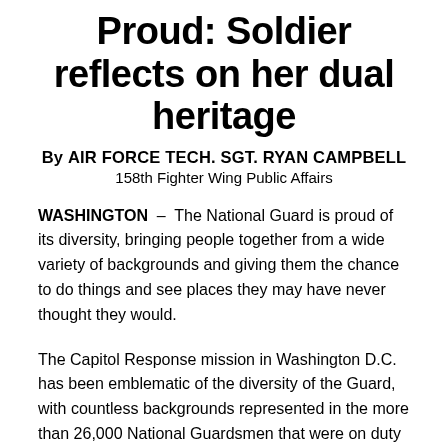Proud: Soldier reflects on her dual heritage
By AIR FORCE TECH. SGT. RYAN CAMPBELL
158th Fighter Wing Public Affairs
WASHINGTON – The National Guard is proud of its diversity, bringing people together from a wide variety of backgrounds and giving them the chance to do things and see places they may have never thought they would.
The Capitol Response mission in Washington D.C. has been emblematic of the diversity of the Guard, with countless backgrounds represented in the more than 26,000 National Guardsmen that were on duty at the missions peak.
Spc. Marisol Gameros, who was assigned to the